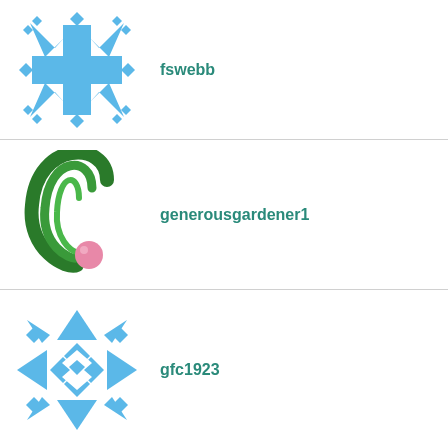[Figure (logo): Blue snowflake-like geometric pattern logo]
fswebb
[Figure (logo): Green spiral/teardrop logo with pink pearl at base]
generousgardener1
[Figure (logo): Blue geometric diamond/snowflake pattern logo]
gfc1923
[Figure (logo): Partial blue logos at bottom of page]